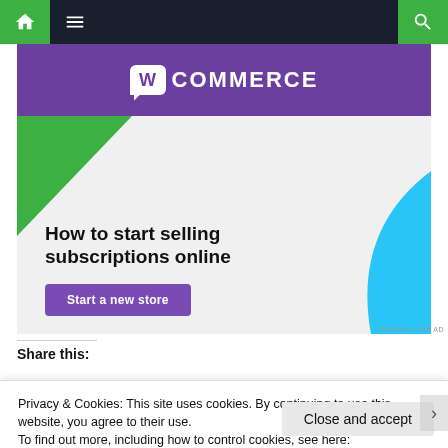Navigation bar with home, menu, and search icons
[Figure (screenshot): WooCommerce advertisement banner showing 'How to start selling subscriptions online' with a 'Start a new store' button, purple header with WooCommerce logo, green triangle and blue arc decorative shapes on light grey background]
REPORT THIS AD
Share this:
Privacy & Cookies: This site uses cookies. By continuing to use this website, you agree to their use.
To find out more, including how to control cookies, see here:
Cookie Policy
Close and accept